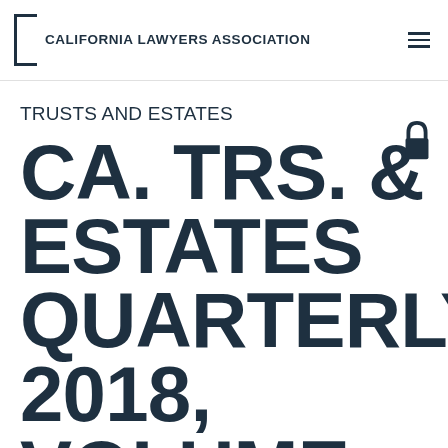CALIFORNIA LAWYERS ASSOCIATION
TRUSTS AND ESTATES
CA. TRS. & ESTATES QUARTERLY 2018, VOLUME